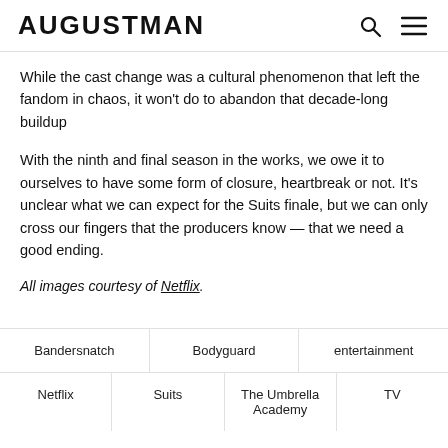AUGUSTMAN
While the cast change was a cultural phenomenon that left the fandom in chaos, it won't do to abandon that decade-long buildup
With the ninth and final season in the works, we owe it to ourselves to have some form of closure, heartbreak or not. It's unclear what we can expect for the Suits finale, but we can only cross our fingers that the producers know — that we need a good ending.
All images courtesy of Netflix.
Bandersnatch
Bodyguard
entertainment
Netflix
Suits
The Umbrella Academy
TV